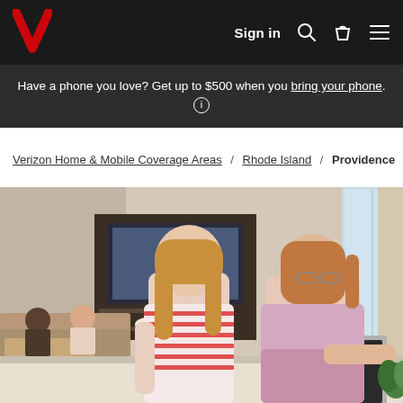Sign in [search icon] [bag icon] [menu icon]
Have a phone you love? Get up to $500 when you bring your phone. ℹ
Verizon Home & Mobile Coverage Areas / Rhode Island / Providence
[Figure (photo): A woman and a young girl looking at a laptop together at a kitchen counter. In the background, two adults are sitting on a couch in a living room with a TV mounted on the wall and bookshelves.]